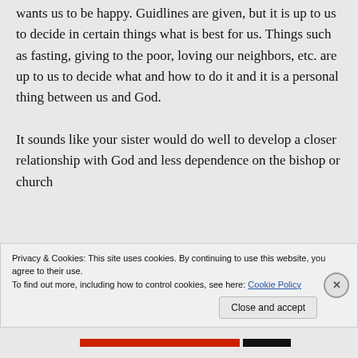wants us to be happy. Guidlines are given, but it is up to us to decide in certain things what is best for us. Things such as fasting, giving to the poor, loving our neighbors, etc. are up to us to decide what and how to do it and it is a personal thing between us and God.

It sounds like your sister would do well to develop a closer relationship with God and less dependence on the bishop or church
Privacy & Cookies: This site uses cookies. By continuing to use this website, you agree to their use.
To find out more, including how to control cookies, see here: Cookie Policy